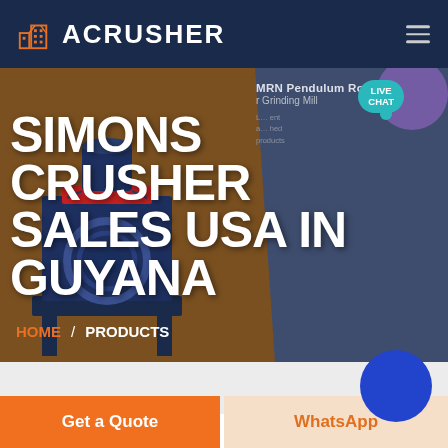ACRUSHER
[Figure (screenshot): Website hero banner for ACRUSHER showing industrial crusher machine on brown/slate background with large white text 'SIMONS CRUSHER SALES USA IN GUYANA' and breadcrumb navigation HOME / PRODUCTS. A teal LIVE CHAT bubble appears top right. A purple circle is partially visible upper right. A blue circle button appears below the hero.]
MRN Pendulum Roller Mill
HOME / PRODUCTS
Get a Quote
WhatsApp